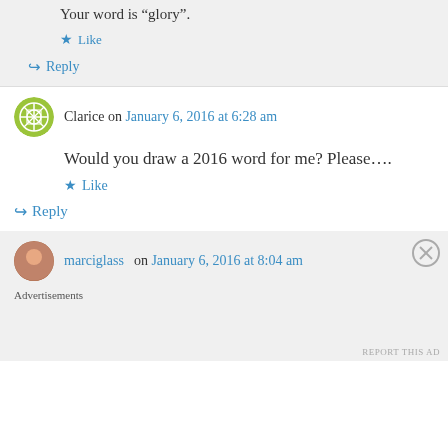Your word is “glory”.
★ Like
↪ Reply
Clarice on January 6, 2016 at 6:28 am
Would you draw a 2016 word for me? Please….
★ Like
↪ Reply
marciglass on January 6, 2016 at 8:04 am
Advertisements